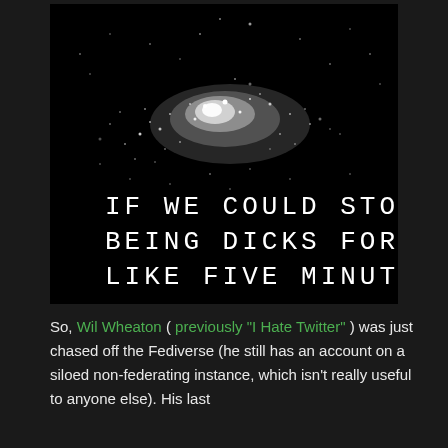[Figure (photo): Black background image showing a galaxy (white star cluster on black sky) with white hand-drawn text reading: IF WE COULD STOP BEING DICKS FOR LIKE FIVE MINUTES]
So, Wil Wheaton ( previously "I Hate Twitter" ) was just chased off the Fediverse (he still has an account on a siloed non-federating instance, which isn't really useful to anyone else). His last